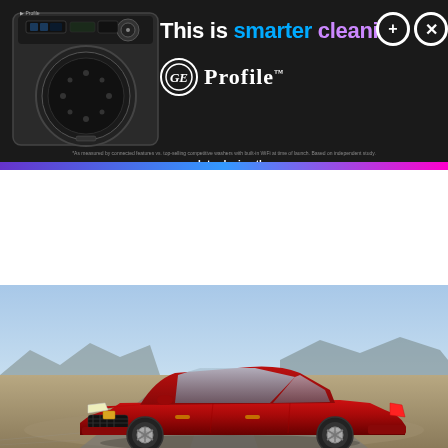[Figure (advertisement): GE Profile washing machine advertisement banner with dark background. Shows a front-loading washer on the left, headline 'This is smarter cleaning' with 'smarter' in blue and 'cleaning' in purple, GE Profile logo with 'Introducing the smartest washer in its class' tagline, and close/expand buttons.]
[Figure (photo): Red Cadillac sedan (CT5 or similar) photographed driving through an arid desert landscape with mountains in the background and a blue sky. The car is shown from a front three-quarter angle.]